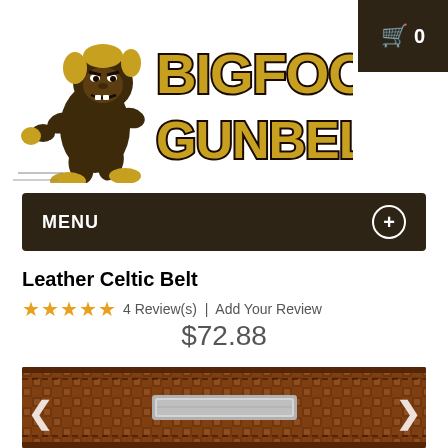[Figure (logo): Bigfoot Gun Belts logo with animated bigfoot mascot character running, gold and dark brown color scheme, large bold text reading BIGFOOT GUNBELTS]
Cart: 0 items
MENU
Leather Celtic Belt
4 Review(s) | Add Your Review
$72.88
[Figure (photo): Close-up photo of a brown leather belt with embossed Celtic/basket weave pattern, showing a silver metal clasp/keeper, with left and right navigation arrows overlaid]